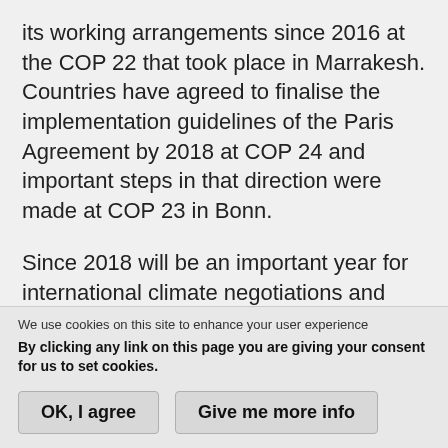its working arrangements since 2016 at the COP 22 that took place in Marrakesh. Countries have agreed to finalise the implementation guidelines of the Paris Agreement by 2018 at COP 24 and important steps in that direction were made at COP 23 in Bonn.
Since 2018 will be an important year for international climate negotiations and since COP 24 will take place in Poland, in the EU, it is worth the ETUC starting the coming year with a clear mandate defining its main goals and demands for international climate negotiations in 2018. The aim
We use cookies on this site to enhance your user experience
By clicking any link on this page you are giving your consent for us to set cookies.